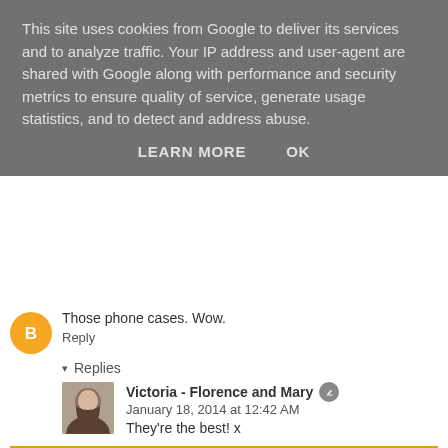This site uses cookies from Google to deliver its services and to analyze traffic. Your IP address and user-agent are shared with Google along with performance and security metrics to ensure quality of service, generate usage statistics, and to detect and address abuse.
LEARN MORE   OK
Those phone cases. Wow.
Reply
▾ Replies
Victoria - Florence and Mary   January 18, 2014 at 12:42 AM
They're the best! x
Reply
Anonymous  January 18, 2014 at 7:50 PM
Love Victoria's Secret! Great buys!
Ray | Obey Ray